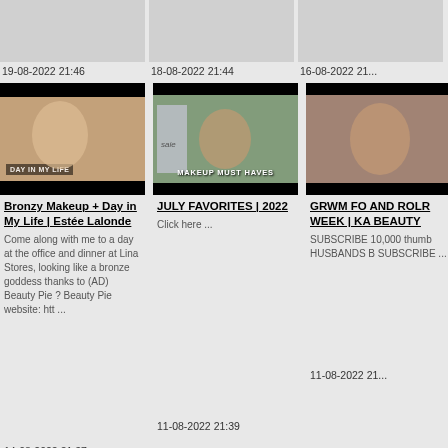[Figure (screenshot): Partial video thumbnail, top row left, cut off]
19-08-2022 21:46
[Figure (screenshot): Partial video thumbnail, top row center, cut off]
18-08-2022 21:44
[Figure (screenshot): Partial video thumbnail, top row right, cut off]
16-08-2022 21...
[Figure (screenshot): Video thumbnail: woman applying mascara with DAY IN MY LIFE text overlay - Bronzy Makeup + Day in My Life | Estée Lalonde]
Bronzy Makeup + Day in My Life | Estée Lalonde
Come along with me to a day at the office and dinner at Lina Stores, looking like a bronze goddess thanks to (AD) Beauty Pie ? Beauty Pie website: htt ...
14-08-2022 21:37
[Figure (screenshot): Video thumbnail: woman holding beauty products with MAKEUP MUST HAVES text - JULY FAVORITES | 2022]
JULY FAVORITES | 2022
Click here ...
11-08-2022 21:39
[Figure (screenshot): Video thumbnail: GRWM partially visible - GRWM FOR AND ROLR WEEK | KA BEAUTY]
GRWM FO AND ROLR WEEK | KA BEAUTY
SUBSCRIBE 10,000 thumb HUSBANDS B SUBSCRIBE ...
11-08-2022 21...
[Figure (screenshot): Partial video thumbnail bottom row left]
[Figure (screenshot): Partial video thumbnail bottom row center]
[Figure (screenshot): Partial video thumbnail bottom row right, partially visible]